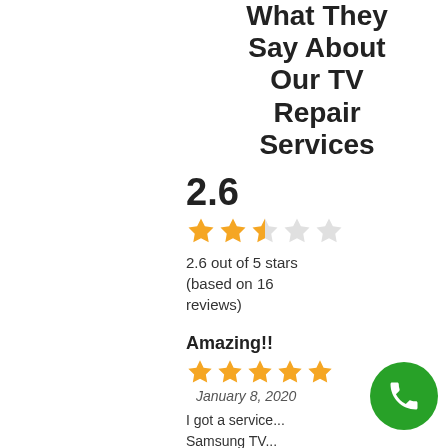What They Say About Our TV Repair Services
2.6
[Figure (other): Star rating display showing 2.6 out of 5 stars — 2 full stars, 1 half star, 2 empty stars in orange/gold color]
2.6 out of 5 stars (based on 16 reviews)
Amazing!!
[Figure (other): 5 full gold stars rating for the Amazing review]
January 8, 2020
I got a service... Samsung TV... TV to the shop... got a free estimate. The...
[Figure (other): Green circular phone call button icon]